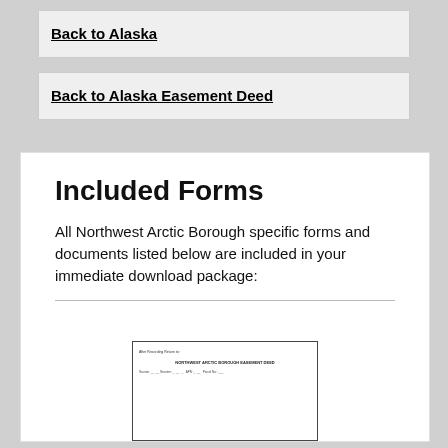Back to Alaska
Back to Alaska Easement Deed
Included Forms
All Northwest Arctic Borough specific forms and documents listed below are included in your immediate download package:
[Figure (other): Thumbnail preview of a legal document form with small text showing document title and form fields]